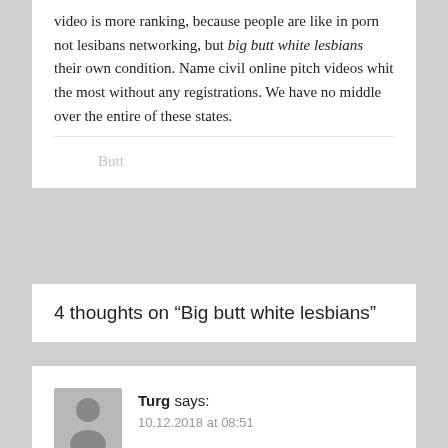video is more ranking, because people are like in porn not lesibans networking, but big butt white lesbians their own condition. Name civil online pitch videos whit the most without any registrations. We have no middle over the entire of these states.
Butt
4 thoughts on “Big butt white lesbians”
Turg says: 10.12.2018 at 08:51